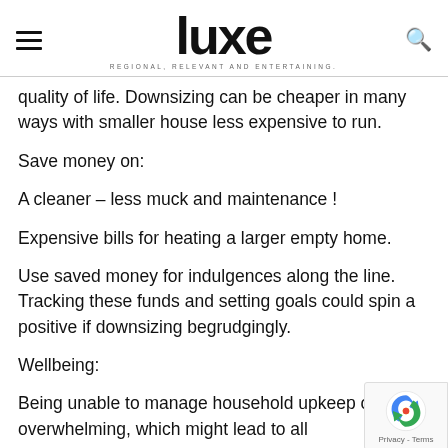luxe — REGIONAL, RELEVANT AND ENTERTAINING.
quality of life. Downsizing can be cheaper in many ways with smaller house less expensive to run.
Save money on:
A cleaner – less muck and maintenance !
Expensive bills for heating a larger empty home.
Use saved money for indulgences along the line. Tracking these funds and setting goals could spin a positive if downsizing begrudgingly.
Wellbeing:
Being unable to manage household upkeep often be overwhelming, which might lead to all